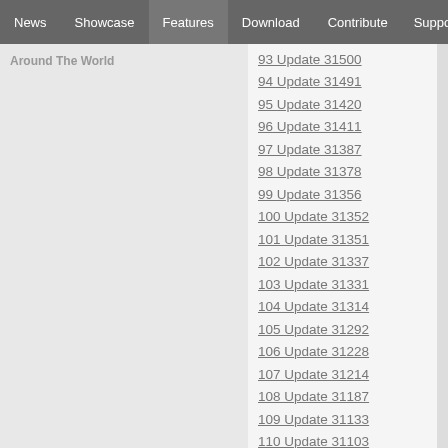News | Showcase | Features | Download | Contribute | Support
Around The World
93 Update 31500
94 Update 31491
95 Update 31420
96 Update 31411
97 Update 31387
98 Update 31378
99 Update 31356
100 Update 31352
101 Update 31351
102 Update 31337
103 Update 31331
104 Update 31314
105 Update 31292
106 Update 31228
107 Update 31214
108 Update 31187
109 Update 31133
110 Update 31103
111 Update 31087
112 Update 31083
113 Update 31074